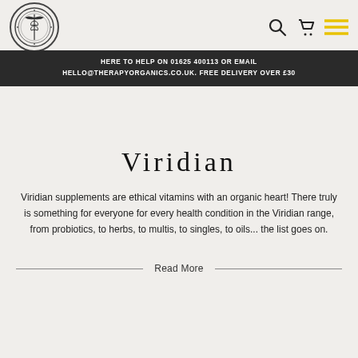[Figure (logo): Circular ornate logo with caduceus/medical symbol in center, decorative border]
[Figure (other): Search icon, cart icon, and hamburger menu icon (with yellow lines) in top right navigation]
HERE TO HELP ON 01625 400113 OR EMAIL HELLO@THERAPYORGANICS.CO.UK. FREE DELIVERY OVER £30
Viridian
Viridian supplements are ethical vitamins with an organic heart! There truly is something for everyone for every health condition in the Viridian range, from probiotics, to herbs, to multis, to singles, to oils... the list goes on.
Read More